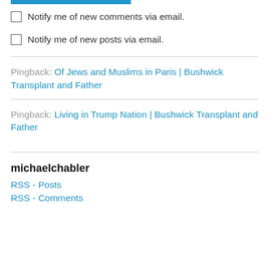[Figure (other): Blue horizontal bar at top]
Notify me of new comments via email.
Notify me of new posts via email.
Pingback: Of Jews and Muslims in Paris | Bushwick Transplant and Father
Pingback: Living in Trump Nation | Bushwick Transplant and Father
michaelchabler
RSS - Posts
RSS - Comments